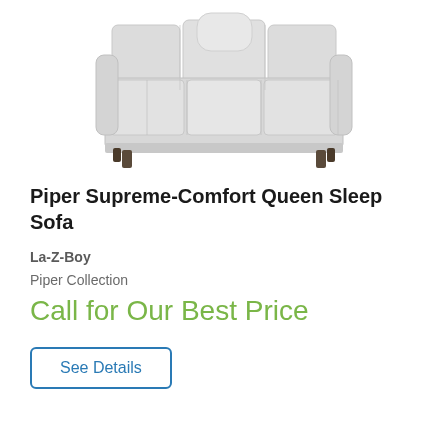[Figure (photo): Light gray upholstered queen sleep sofa with three seat cushions, two back cushions, and dark wooden legs, shown on white background.]
Piper Supreme-Comfort Queen Sleep Sofa
La-Z-Boy
Piper Collection
Call for Our Best Price
See Details